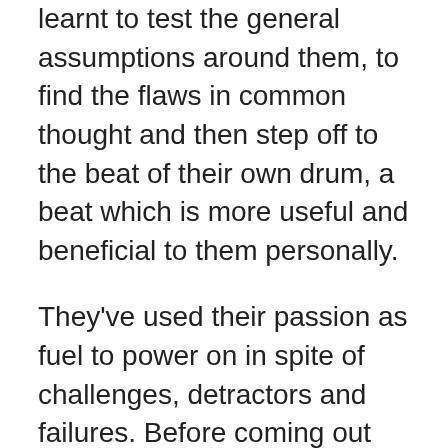learnt to test the general assumptions around them, to find the flaws in common thought and then step off to the beat of their own drum, a beat which is more useful and beneficial to them personally.
They’ve used their passion as fuel to power on in spite of challenges, detractors and failures. Before coming out the other side as the so called “effortless professional” they’ve pushed themselves through the trials and tribulations.
I’m taking these lessons and stepping out into the world myself. I’ve begun paving my path for myself and taking responsibility for